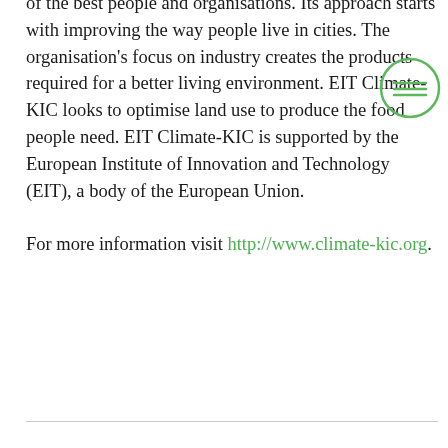of the best people and organisations. Its approach starts with improving the way people live in cities. The organisation's focus on industry creates the products required for a better living environment. EIT Climate-KIC looks to optimise land use to produce the food people need. EIT Climate-KIC is supported by the European Institute of Innovation and Technology (EIT), a body of the European Union.

For more information visit http://www.climate-kic.org.